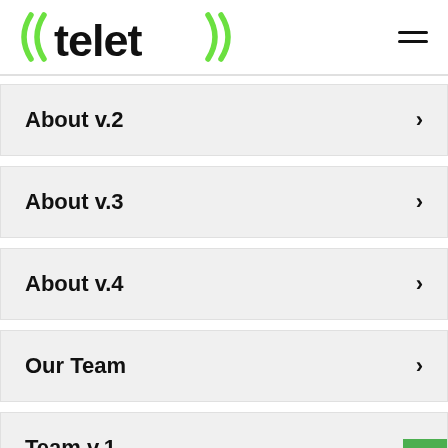telet — navigation menu header with logo and hamburger icon
About v.2
About v.3
About v.4
Our Team
Team v.1